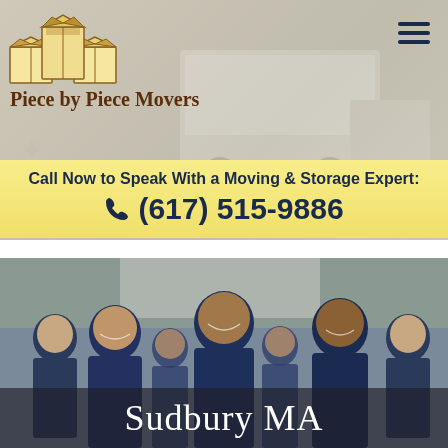[Figure (logo): Piece by Piece Movers logo with three cardboard boxes (open) arranged together, in tan/brown colors]
Piece by Piece Movers
Call Now to Speak With a Moving & Storage Expert: (617) 515-9886
[Figure (photo): Team photo of Piece by Piece Movers employees wearing navy blue shirts and hoodies, standing in front of a moving truck outdoors]
Sudbury MA